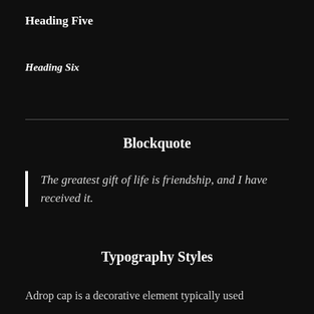Heading Five
Heading Six
Blockquote
The greatest gift of life is friendship, and I have received it.
Typography Styles
Adrop cap is a decorative element typically used